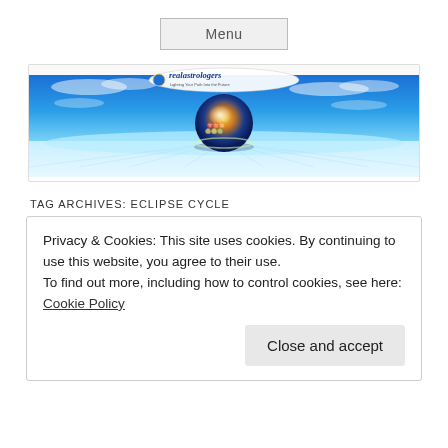Menu
[Figure (illustration): realastrologers website banner with a glowing celestial sphere featuring zodiac symbols floating over a bright blue sky with clouds and radiating light on a reflective surface. White oval logo at top reading 'realastrologers' with tagline 'Lighting Your Path Into the Future'.]
TAG ARCHIVES: ECLIPSE CYCLE
Privacy & Cookies: This site uses cookies. By continuing to use this website, you agree to their use.
To find out more, including how to control cookies, see here: Cookie Policy
Close and accept